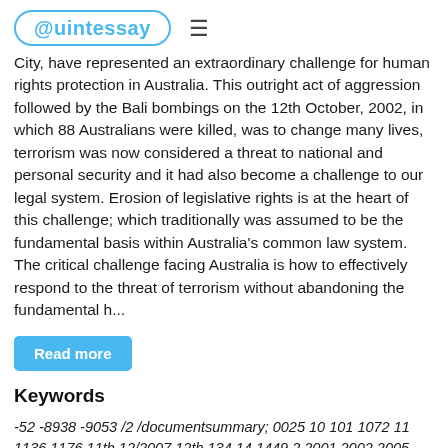@Quintessay ≡
City, have represented an extraordinary challenge for human rights protection in Australia. This outright act of aggression followed by the Bali bombings on the 12th October, 2002, in which 88 Australians were killed, was to change many lives, terrorism was now considered a threat to national and personal security and it had also become a challenge to our legal system. Erosion of legislative rights is at the heart of this challenge; which traditionally was assumed to be the fundamental basis within Australia's common law system. The critical challenge facing Australia is how to effectively respond to the threat of terrorism without abandoning the fundamental h...
Read more
Keywords
-52 -8938 -9053 /2 /documentsummary; 0025 10 101 1072 11 1136 1176 11th 12/2007 12th 134 14 1449 2 2001 2002 2005 2006 2007 2008 2010 2011 2012 25 3 31 35 357 40 43.1 54 8.2 88 abandon abroad account accus acknowledg act